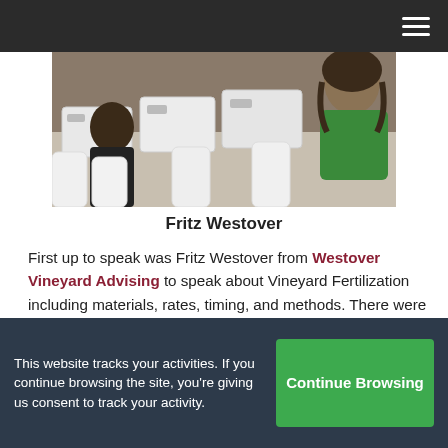[Figure (photo): Classroom or workshop scene with people seated at tables with white storage bins/containers; a person in a green top visible on the right.]
Fritz Westover
First up to speak was Fritz Westover from Westover Vineyard Advising to speak about Vineyard Fertilization including materials, rates, timing, and methods. There were a number of people in attendance who already had vineyards or who were thinking about starting a vineyard. Fritz explained soil analysis is good to tell what mineral nutrients are available in the soil for vineyard…
This website tracks your activities. If you continue browsing the site, you're giving us consent to track your activity.
Continue Browsing